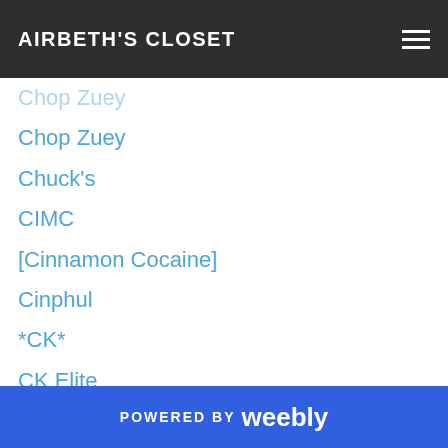AIRBETH'S CLOSET
Chop Zuey
Chuck's
CIMC
[Cinnamon Cocaine]
Cinphul
*CK*
CK Elite
Clawtooth
Climbatize Poses
Closet Chickies
Co Blogger Posts
Coco
*COCO*
Collabor88
Complex
POWERED BY weebly